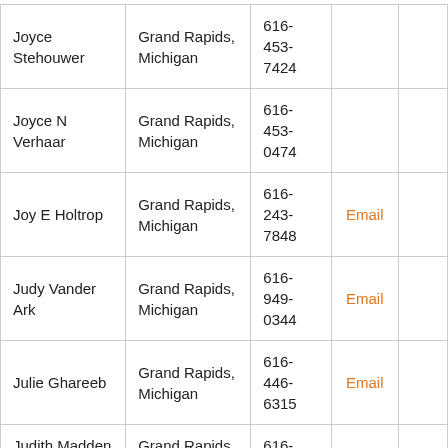| Joyce Stehouwer | Grand Rapids, Michigan | 616-453-7424 |  |  |
| Joyce N Verhaar | Grand Rapids, Michigan | 616-453-0474 |  |  |
| Joy E Holtrop | Grand Rapids, Michigan | 616-243-7848 | Email |  |
| Judy Vander Ark | Grand Rapids, Michigan | 616-949-0344 | Email |  |
| Julie Ghareeb | Grand Rapids, Michigan | 616-446-6315 | Email |  |
| Judith Madden | Grand Rapids, | 616-942- |  |  |